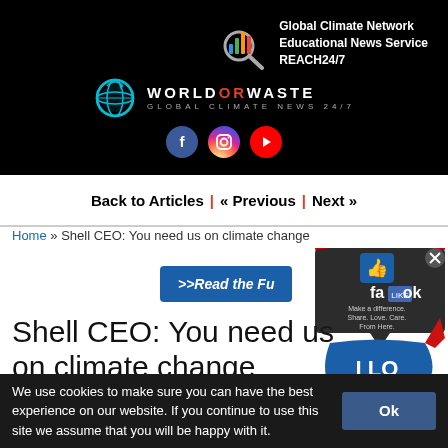[Figure (logo): World Or Waste Global Climate News 24/7 logo with globe icon, bar chart icon, and social media buttons (Facebook, Instagram, YouTube). Global Climate Network Educational News Service REACH24/7 text on the right.]
Back to Articles | « Previous | Next »
Home » Shell CEO: You need us on climate change
>>Read the Fu...
Shell CEO: You need us on climate change
We use cookies to make sure you can have the best experience on our website. If you continue to use this site we assume that you will be happy with it.